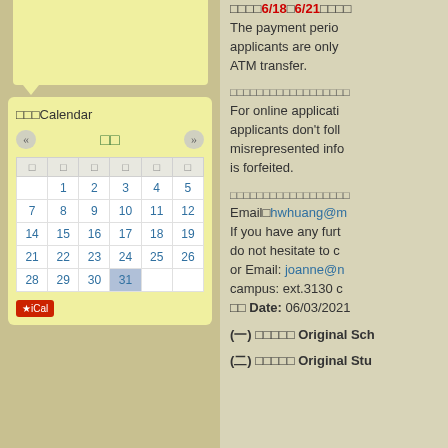繳費期間6/18至6/21，網路報名之考生僅能以ATM轉帳方式繳費。The payment period applicants are only ATM transfer.
網路報名注意事項：For online application applicants don't follow misrepresented info is forfeited.
Email：hwwhuang@m... If you have any furt do not hesitate to c or Email: joanne@n campus: ext.3130 Date: 06/03/2021
[Figure (other): Calendar widget showing a month view with navigation arrows, days 1-31, day 31 highlighted in blue. Title shows 行事Calendar with green month display.]
(一) 高中英文成績 Original Sch
(二) 高中英文成績 Original Stu